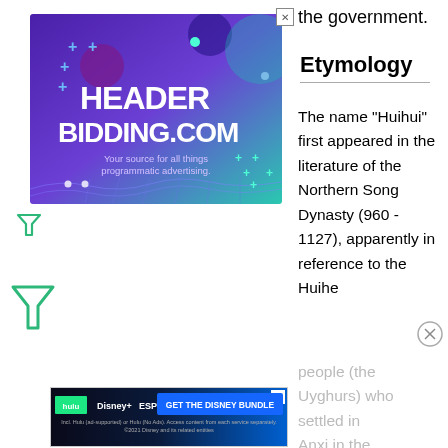the government.
[Figure (screenshot): Advertisement banner for HeaderBidding.com with purple-to-teal gradient background, white text reading 'HEADER BIDDING.COM Your source for all things programmatic advertising.' with decorative plus signs and grid graphic.]
[Figure (logo): Green funnel/filter icon below the main ad banner]
[Figure (logo): Larger green funnel/filter icon on the left side]
Etymology
The name "Huihui" first appeared in the literature of the Northern Song Dynasty (960 - 1127), apparently in reference to the Huihe people (the Uyghurs) who settled in Anxi in the
[Figure (screenshot): Advertisement banner for Disney Bundle featuring Hulu, Disney+, and ESPN+ logos with text 'GET THE DISNEY BUNDLE'. Includes: 'Incl. Hulu (ad-supported) or Hulu (No Ads). Access content from each service separately. ©2021 Disney and its related entities']
[Figure (logo): Small circled X close button on right side]